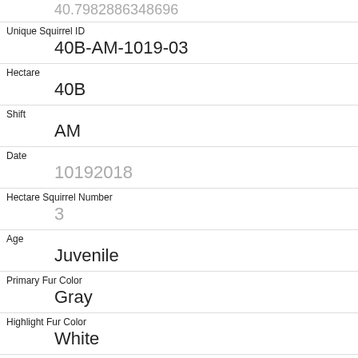40.7982886348696
Unique Squirrel ID
40B-AM-1019-03
Hectare
40B
Shift
AM
Date
10192018
Hectare Squirrel Number
3
Age
Juvenile
Primary Fur Color
Gray
Highlight Fur Color
White
Combination of Primary and Highlight Color
Gray+White
Color notes